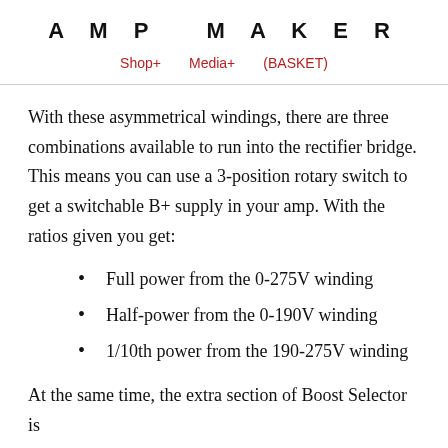AMP MAKER
Shop+   Media+   (BASKET)
With these asymmetrical windings, there are three combinations available to run into the rectifier bridge. This means you can use a 3-position rotary switch to get a switchable B+ supply in your amp. With the ratios given you get:
Full power from the 0-275V winding
Half-power from the 0-190V winding
1/10th power from the 190-275V winding
At the same time, the extra section of Boost Selector is...